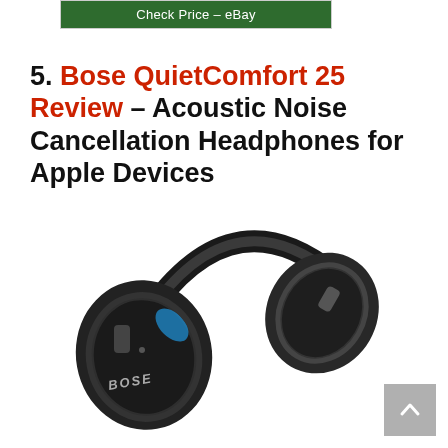[Figure (other): Green eBay 'Check Price' button inside a bordered box]
5. Bose QuietComfort 25 Review – Acoustic Noise Cancellation Headphones for Apple Devices
[Figure (photo): Bose QuietComfort 25 over-ear headphones in black, shown at an angle revealing the blue accent on the ear cup and the Bose logo on the ear cup]